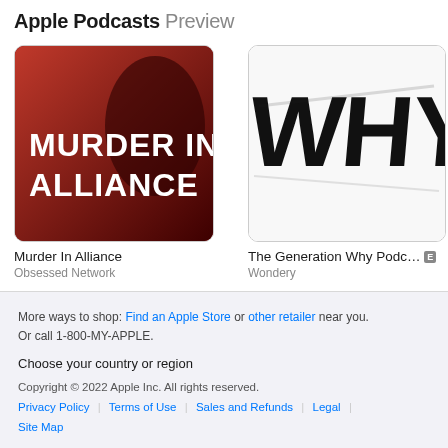Apple Podcasts Preview
[Figure (photo): Podcast artwork for 'Murder In Alliance' — dark red/black graphic with bold white text reading MURDER IN ALLIANCE]
Murder In Alliance
Obsessed Network
[Figure (photo): Podcast artwork for 'The Generation Why Podcast' — white background with black brush-stroke lettering spelling WHY]
The Generation Why Podc... [E]
Wondery
[Figure (photo): Partial podcast artwork (third card, cropped) — red background with partial white text visible]
Tru
TR
More ways to shop: Find an Apple Store or other retailer near you.
Or call 1-800-MY-APPLE.
Choose your country or region
Copyright © 2022 Apple Inc. All rights reserved.
Privacy Policy | Terms of Use | Sales and Refunds | Legal | Site Map